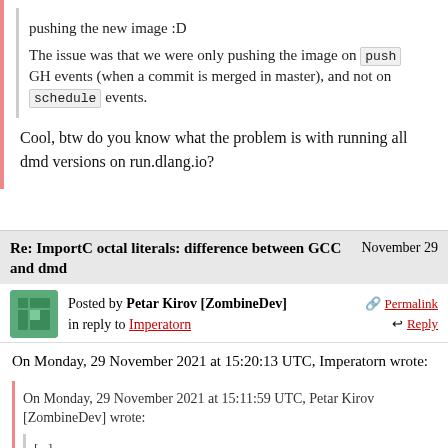pushing the new image :D
The issue was that we were only pushing the image on push GH events (when a commit is merged in master), and not on schedule events.
Cool, btw do you know what the problem is with running all dmd versions on run.dlang.io?
Re: ImportC octal literals: difference between GCC and dmd
November 29
Posted by Petar Kirov [ZombineDev]
in reply to Imperatorn
Permalink
Reply
On Monday, 29 November 2021 at 15:20:13 UTC, Imperatorn wrote:
On Monday, 29 November 2021 at 15:11:59 UTC, Petar Kirov [ZombineDev] wrote:
[...]